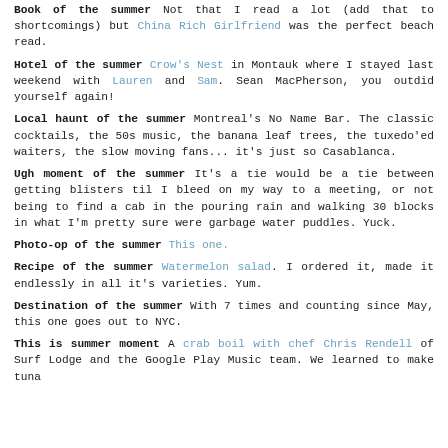Book of the summer  Not that I read a lot (add that to shortcomings) but China Rich Girlfriend was the perfect beach read.
Hotel of the summer  Crow's Nest in Montauk where I stayed last weekend with Lauren and Sam. Sean MacPherson, you outdid yourself again!
Local haunt of the summer  Montreal's No Name Bar. The classic cocktails, the 50s music, the banana leaf trees, the tuxedo'ed waiters, the slow moving fans... it's just so Casablanca.
Ugh moment of the summer  It's a tie would be a tie between getting blisters til I bleed on my way to a meeting, or not being to find a cab in the pouring rain and walking 30 blocks in what I'm pretty sure were garbage water puddles. Yuck.
Photo-op of the summer  This one.
Recipe of the summer  Watermelon salad. I ordered it, made it endlessly in all it's varieties. Yum.
Destination of the summer  With 7 times and counting since May, this one goes out to NYC.
This is summer moment A crab boil with chef Chris Rendell of Surf Lodge and the Google Play Music team. We learned to make tuna